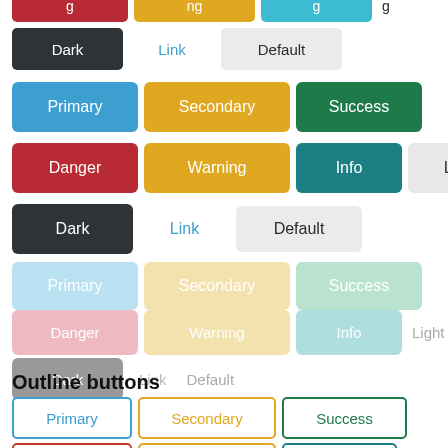[Figure (screenshot): UI button showcase showing multiple rows of colored buttons (truncated top): Dark, Link, Default row; Primary/Secondary/Success row; Danger/Warning/Info/Light row; Dark/Link/Default row (normal size); Primary/Secondary/Success row (disabled/faded); Danger/Warning/Info/Light row (faded); Dark/Link/Default row (faded)]
Outline buttons
[Figure (screenshot): Outline buttons: Primary (blue outline), Secondary (yellow outline), Success (green outline); Danger (red outline), Warning (yellow outline), Info (teal outline); Dark (dark outline, partially visible)]